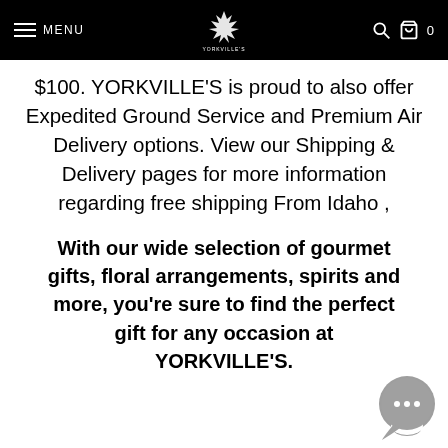MENU | YORKVILLE'S | 0
$100. YORKVILLE'S is proud to also offer Expedited Ground Service and Premium Air Delivery options. View our Shipping & Delivery pages for more information regarding free shipping From Idaho ,
With our wide selection of gourmet gifts, floral arrangements, spirits and more, you're sure to find the perfect gift for any occasion at YORKVILLE'S.